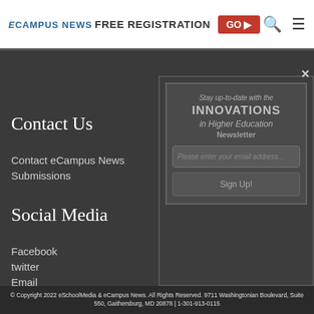eCampus News | FREE REGISTRATION GO ▶
Contact Us
Contact eCampus News
Submissions
Social Media
Facebook
twitter
Email
[Figure (screenshot): Newsletter signup modal overlay with 'Stay up-to-date with the INNOVATIONS in Higher Education Newsletter' heading, email input field, and Sign Up! button. X close button in top-right corner.]
© Copyright 2022 eSchoolMedia & eCampus News. All Rights Reserved. 9711 Washingtonian Boulevard, Suite 550, Gaithersburg, MD 20878 | 1-301-913-0115